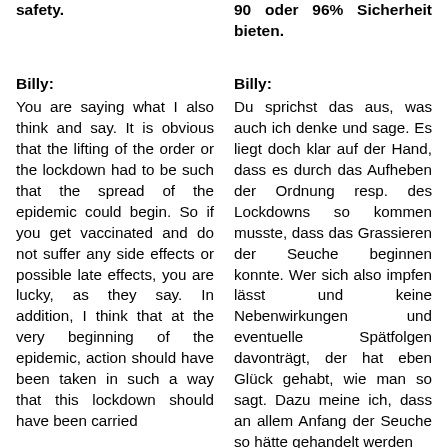safety.
90 oder 96% Sicherheit bieten.
Billy:
Billy:
You are saying what I also think and say. It is obvious that the lifting of the order or the lockdown had to be such that the spread of the epidemic could begin. So if you get vaccinated and do not suffer any side effects or possible late effects, you are lucky, as they say. In addition, I think that at the very beginning of the epidemic, action should have been taken in such a way that this lockdown should have been carried
Du sprichst das aus, was auch ich denke und sage. Es liegt doch klar auf der Hand, dass es durch das Aufheben der Ordnung resp. des Lockdowns so kommen musste, dass das Grassieren der Seuche beginnen konnte. Wer sich also impfen lässt und keine Nebenwirkungen und eventuelle Spätfolgen davonträgt, der hat eben Glück gehabt, wie man so sagt. Dazu meine ich, dass an allem Anfang der Seuche so hätte gehandelt werden